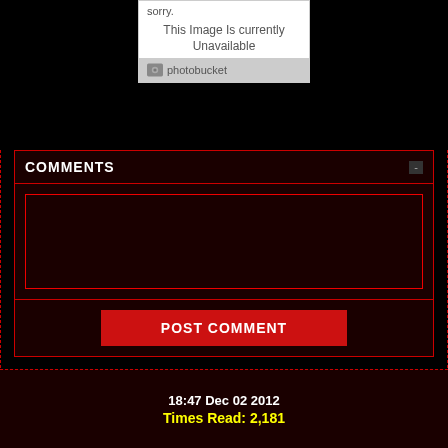[Figure (screenshot): Photobucket image unavailable placeholder showing 'sorry. This Image Is currently Unavailable' with Photobucket logo]
COMMENTS
[Figure (screenshot): Empty dark red comment text area input box]
POST COMMENT
18:47 Dec 02 2012
Times Read: 2,181